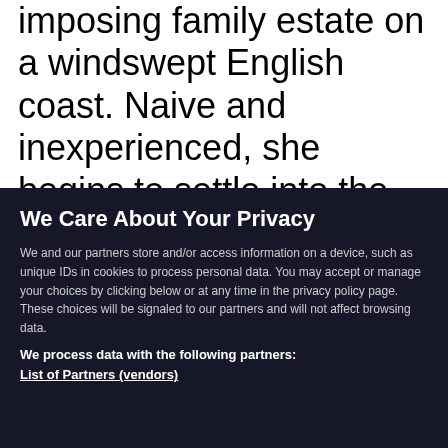imposing family estate on a windswept English coast. Naive and inexperienced, she begins to settle into the trappings of her new life, but finds herself battling the shadow of Maxim's first wife,
We Care About Your Privacy
We and our partners store and/or access information on a device, such as unique IDs in cookies to process personal data. You may accept or manage your choices by clicking below or at any time in the privacy policy page. These choices will be signaled to our partners and will not affect browsing data.
We process data with the following partners:
List of Partners (vendors)
I Accept
Manage Cookies